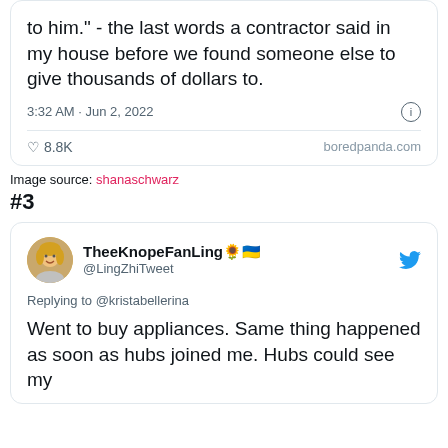to him." - the last words a contractor said in my house before we found someone else to give thousands of dollars to.
3:32 AM · Jun 2, 2022
♡ 8.8K   boredpanda.com
Image source: shanaschwarz
#3
TheeKnopeFanLing🌻🇺🇦 @LingZhiTweet
Replying to @kristabellerina
Went to buy appliances. Same thing happened as soon as hubs joined me. Hubs could see my